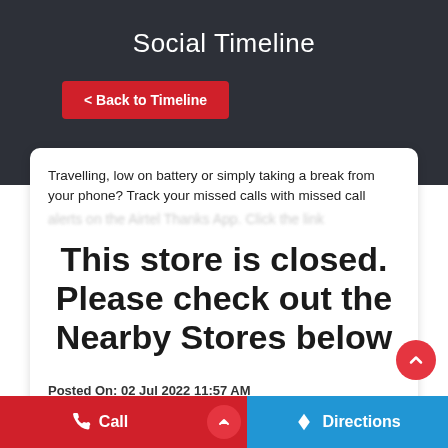Social Timeline
< Back to Timeline
Travelling, low on battery or simply taking a break from your phone? Track your missed calls with missed call alerts on the Airtel Thanks App. Click the link
This store is closed. Please check out the Nearby Stores below
Posted On: 02 Jul 2022 11:57 AM
[Figure (infographic): Social share icons: Facebook, Twitter, WhatsApp]
Call   Directions